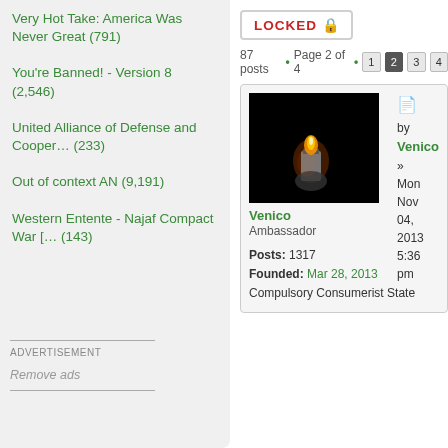Very Hot Take: America Was Never Great (791)
You're Banned! - Version 8 (2,546)
United Alliance of Defense and Cooper… (233)
Out of context AN (9,191)
Western Entente - Najaf Compact War [… (143)
ADVERTISEMENT
Remove ads
LOCKED
87 posts • Page 2 of 4 • 1 2 3 4
[Figure (photo): A dark image of a hand holding a lit lighter flame against a black background]
Venico
Ambassador

Posts: 1317
Founded: Mar 28, 2013
Compulsory Consumerist State
by Venico » Mon Nov 04, 2013 5:36 pm